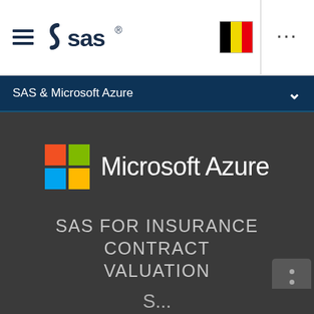[Figure (logo): SAS logo with hamburger menu icon on the left side of the top navigation bar]
[Figure (logo): Belgian flag (black, yellow, red vertical stripes) in the top right navigation area]
SAS & Microsoft Azure
[Figure (logo): Microsoft Azure logo: Microsoft four-color grid squares (orange, green, blue, yellow) followed by 'Microsoft Azure' text in white]
SAS FOR INSURANCE CONTRACT VALUATION
POWERED BY AZURE
S...